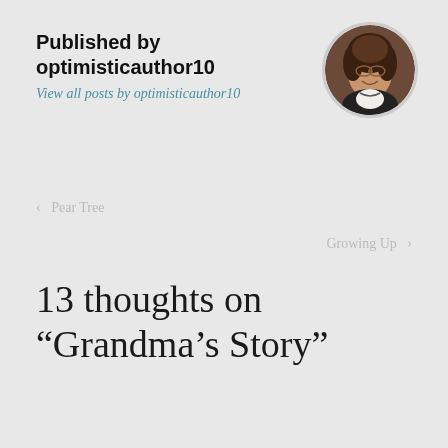Published by optimisticauthor10
View all posts by optimisticauthor10
[Figure (photo): Circular avatar photo of a woman with curly brown hair, smiling, wearing a dark jacket and necklace]
‹  Pear Tree
Growing Up  ›
13 thoughts on “Grandma’s Story”